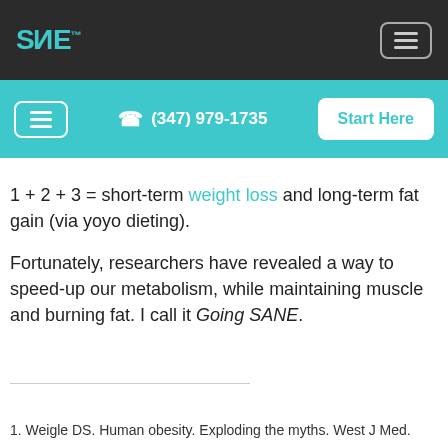SANE™
(347) 979-1735  Start Here
1 + 2 + 3 = short-term weight loss and long-term fat gain (via yoyo dieting).
Fortunately, researchers have revealed a way to speed-up our metabolism, while maintaining muscle and burning fat. I call it Going SANE.
1. Weigle DS. Human obesity. Exploding the myths. West J Med.